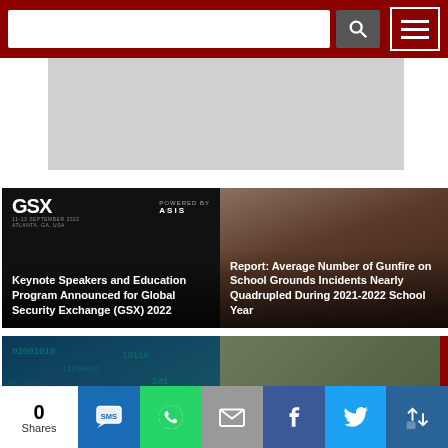[Figure (screenshot): Website header bar with dark red background, search input box, search button with magnifying glass icon, and hamburger menu button]
[Figure (photo): Gray banner/advertisement area]
[Figure (screenshot): News card: GSX logo on black background with title 'Keynote Speakers and Education Program Announced for Global Security Exchange (GSX) 2022']
[Figure (photo): News card: Person holding phone - 'Report: Average Number of Gunfire on School Grounds Incidents Nearly Quadrupled During 2021-2022 School Year']
[Figure (photo): News card: Digital/cyber background - 'Study: 64% of Businesses Suspect They've Been Targeted or Impacted by Nation-State']
[Figure (photo): News card: Outdoor event - 'SIA NCRSF Will Host 9th Charity']
[Figure (screenshot): Social share bar showing 0 Shares with SMS, WhatsApp, Email, Facebook, Twitter, and more buttons]